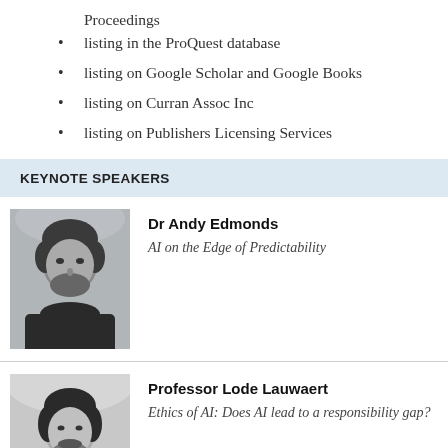Proceedings
listing in the ProQuest database
listing on Google Scholar and Google Books
listing on Curran Assoc Inc
listing on Publishers Licensing Services
KEYNOTE SPEAKERS
[Figure (photo): Black and white photo of Dr Andy Edmonds, a middle-aged man with dark hair and beard wearing a dark shirt]
Dr Andy Edmonds
AI on the Edge of Predictability
[Figure (photo): Black and white photo of Professor Lode Lauwaert, a younger man with dark hair and beard]
Professor Lode Lauwaert
Ethics of AI: Does AI lead to a responsibility gap?